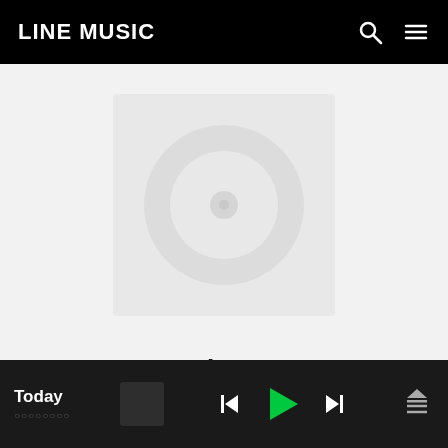LINE MUSIC
[Figure (illustration): Album art placeholder with circular disc icon on light gray background]
Hits +
Kylie Minogue
2020.11.10  ○○/○○○○
Today | [subtitle text] | playback controls: skip back, play, skip forward, queue